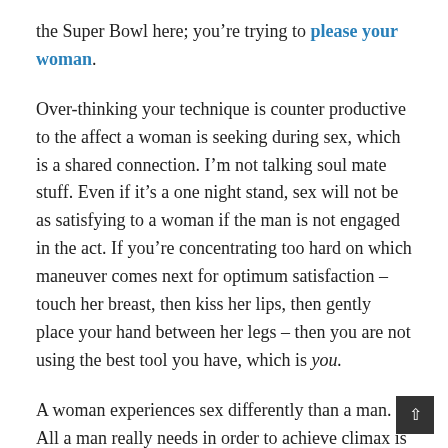the Super Bowl here; you’re trying to please your woman.
Over-thinking your technique is counter productive to the affect a woman is seeking during sex, which is a shared connection. I’m not talking soul mate stuff. Even if it’s a one night stand, sex will not be as satisfying to a woman if the man is not engaged in the act. If you’re concentrating too hard on which maneuver comes next for optimum satisfaction – touch her breast, then kiss her lips, then gently place your hand between her legs – then you are not using the best tool you have, which is you.
A woman experiences sex differently than a man. All a man really needs in order to achieve climax is stimulation of the penis. If his penis enters a vagina, he has achieved sex. Women, however, have sex with all their senses. Th smell of your hair and the warmth of your skin are all